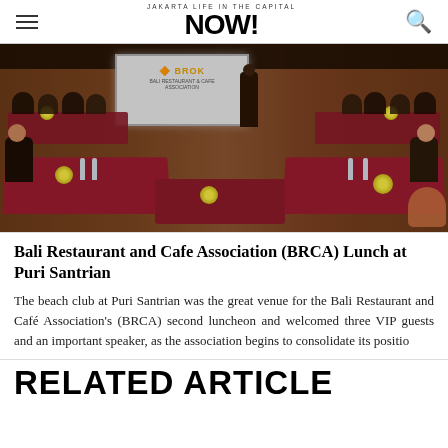NOW! Jakarta – Life in the capital
[Figure (photo): A conference luncheon scene at Puri Santrian beach club. People seated at round tables draped with red tablecloths. A presenter stands near a projection screen showing a BROK logo. Yellow flower centerpieces on tables. Wooden interior with warm lighting.]
Bali Restaurant and Cafe Association (BRCA) Lunch at Puri Santrian
The beach club at Puri Santrian was the great venue for the Bali Restaurant and Café Association's (BRCA) second luncheon and welcomed three VIP guests and an important speaker, as the association begins to consolidate its positio
RELATED ARTICLE